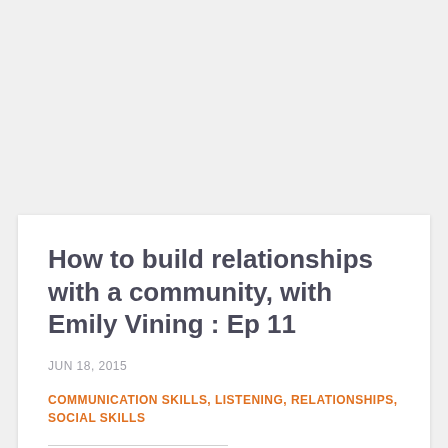How to build relationships with a community, with Emily Vining : Ep 11
JUN 18, 2015
COMMUNICATION SKILLS, LISTENING, RELATIONSHIPS, SOCIAL SKILLS
Read More